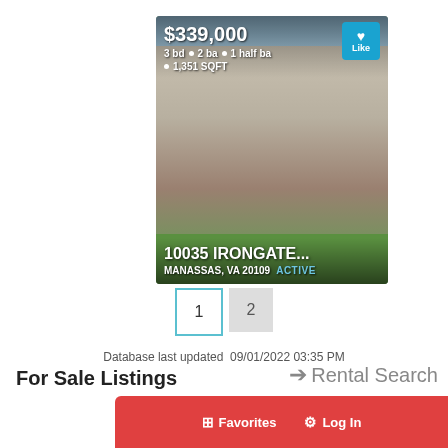[Figure (photo): Real estate listing card showing a row of townhouses with green lawn. Price $339,000, 3 bed, 2 ba, 1 half ba, 1,351 SQFT. Address: 10035 IRONGATE..., MANASSAS, VA 20109, ACTIVE. Blue 'Like' button in top right of card.]
1   2
Database last updated  09/01/2022 03:35 PM
For Sale Listings
→ Rental Search
Favorites   Log In